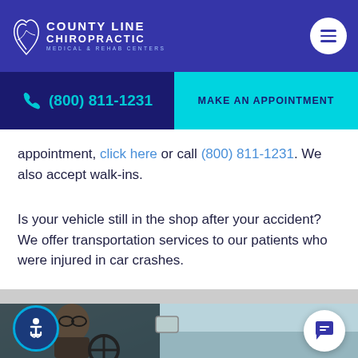County Line Chiropractic Medical & Rehab Centers
(800) 811-1231 | MAKE AN APPOINTMENT
appointment, click here or call (800) 811-1231. We also accept walk-ins.
Is your vehicle still in the shop after your accident? We offer transportation services to our patients who were injured in car crashes.
[Figure (photo): Photo of a man driving a car, viewed from the side, wearing glasses]